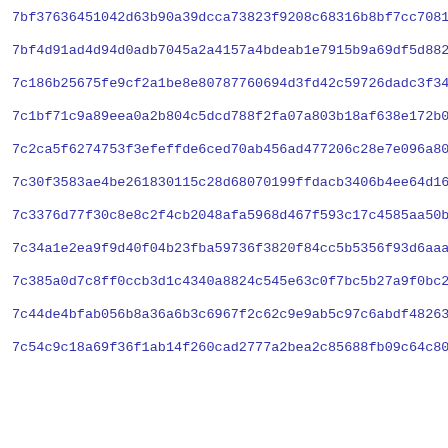7bf37636451042d63b90a39dcca73823f9208c68316b8bf7cc708182492cc
7bf4d91ad4d94d0adb7045a2a4157a4bdeab1e7915b9a69df5d882b419e35
7c186b25675fe9cf2a1be8e80787760694d3fd42c59726dadc3f34308de8df
7c1bf71c9a89eea0a2b804c5dcd788f2fa07a803b18af638e172b085a79fe
7c2ca5f6274753f3efeffde6ced70ab456ad477206c28e7e096a801342ce2
7c30f3583ae4be261830115c28d68070199ffdacb3406b4ee64d163cf5c17
7c3376d77f30c8e8c2f4cb2048afa5968d467f593c17c4585aa50b740eed8
7c34a1e2ea9f9d40f04b23fba59736f3820f84cc5b5356f93d6aaa26f38e5
7c385a0d7c8ff0ccb3d1c4340a8824c545e63c0f7bc5b27a9f0bc253ef92f
7c44de4bfab056b8a36a6b3c6967f2c62c9e9ab5c97c6abdf482639dfc0f9
7c54c9c18a69f36f1ab14f260cad2777a2bea2c85688fb09c64c80237bdb9